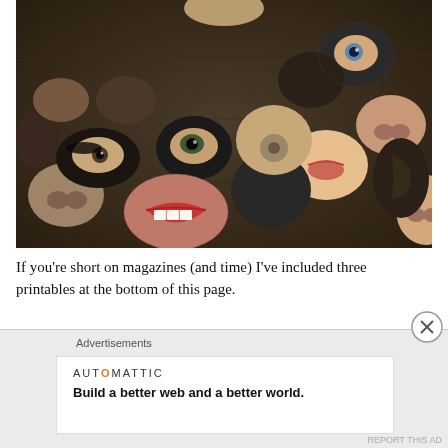[Figure (photo): Photograph of painted rocks on a wooden surface. Each rock has a different human facial feature painted on it — eyes, noses, mouths, ears — creating a surreal collage effect. The stones are dark and the paintings are detailed and colorful against a dark brown wooden background.]
If you're short on magazines (and time) I've included three printables at the bottom of this page.
You will need...
Advertisements
AUTOMATTIC
Build a better web and a better world.